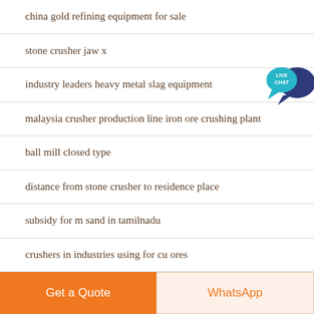china gold refining equipment for sale
stone crusher jaw x
industry leaders heavy metal slag equipment
malaysia crusher production line iron ore crushing plant
ball mill closed type
distance from stone crusher to residence place
subsidy for m sand in tamilnadu
crushers in industries using for cu ores
[Figure (illustration): Live Chat button — a teal speech bubble with 'LIVE CHAT' text and a dark blue chat bubble icon]
Get a Quote    WhatsApp